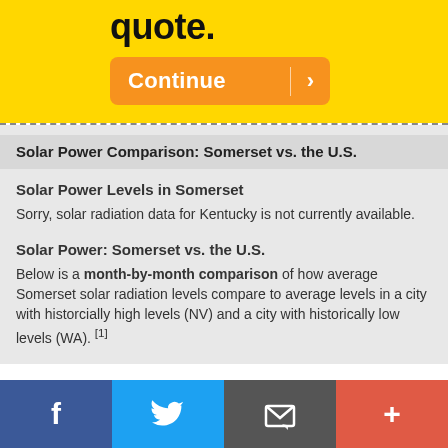quote.
[Figure (other): Orange Continue button with right arrow]
Solar Power Comparison: Somerset vs. the U.S.
Solar Power Levels in Somerset
Sorry, solar radiation data for Kentucky is not currently available.
Solar Power: Somerset vs. the U.S.
Below is a month-by-month comparison of how average Somerset solar radiation levels compare to average levels in a city with historcially high levels (NV) and a city with historically low levels (WA). [1]
[Figure (other): Social media footer bar with Facebook, Twitter, Email, and Plus icons]